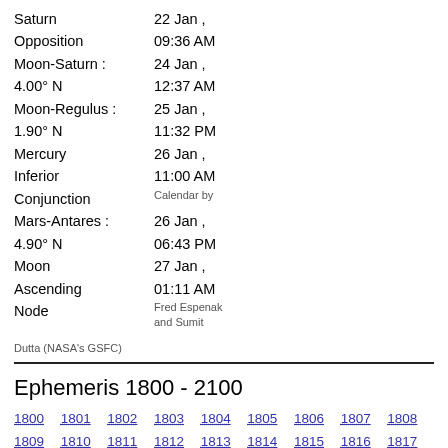Saturn Opposition Moon-Saturn: 4.00° N Moon-Regulus: 1.90° N Mercury Inferior Conjunction Mars-Antares: 4.90° N Moon Ascending Node | 22 Jan, 09:36 AM 24 Jan, 12:37 AM 25 Jan, 11:32 PM 26 Jan, 11:00 AM Calendar by 26 Jan, 06:43 PM 27 Jan, 01:11 AM Fred Espenak and Sumit | Dutta (NASA's GSFC)
Ephemeris 1800 - 2100
1800 1801 1802 1803 1804 1805 1806 1807 1808 1809 1810 1811 1812 1813 1814 1815 1816 1817 1818 1819 1820 1821 1822 1823 1824 1825 1826 1827 1828 1829 1830 1831 1832 1833 1834 1835